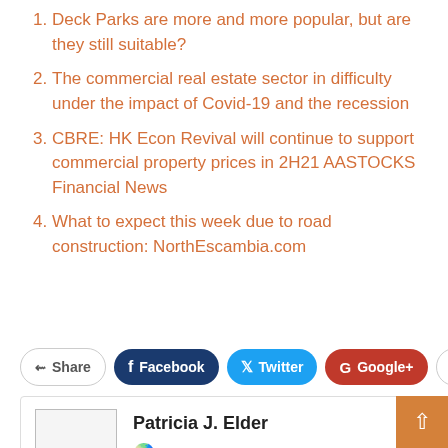Deck Parks are more and more popular, but are they still suitable?
The commercial real estate sector in difficulty under the impact of Covid-19 and the recession
CBRE: HK Econ Revival will continue to support commercial property prices in 2H21 AASTOCKS Financial News
What to expect this week due to road construction: NorthEscambia.com
[Figure (screenshot): Social sharing bar with Share, Facebook, Twitter, Google+, and + buttons]
[Figure (infographic): Author box with photo placeholder, name Patricia J. Elder, and a location/globe icon]